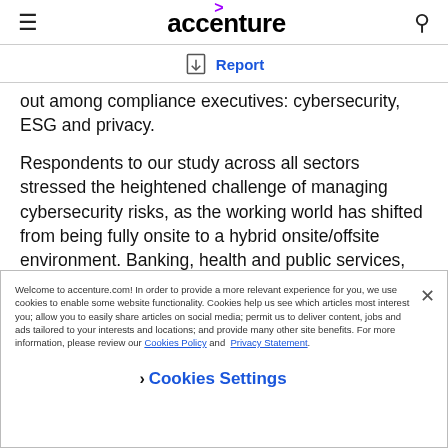accenture
Report
out among compliance executives: cybersecurity, ESG and privacy.
Respondents to our study across all sectors stressed the heightened challenge of managing cybersecurity risks, as the working world has shifted from being fully onsite to a hybrid onsite/offsite environment. Banking, health and public services, insurance, and software and platform respondents cited cybersecurity as one of the top two
Welcome to accenture.com! In order to provide a more relevant experience for you, we use cookies to enable some website functionality. Cookies help us see which articles most interest you; allow you to easily share articles on social media; permit us to deliver content, jobs and ads tailored to your interests and locations; and provide many other site benefits. For more information, please review our Cookies Policy and Privacy Statement.
Cookies Settings